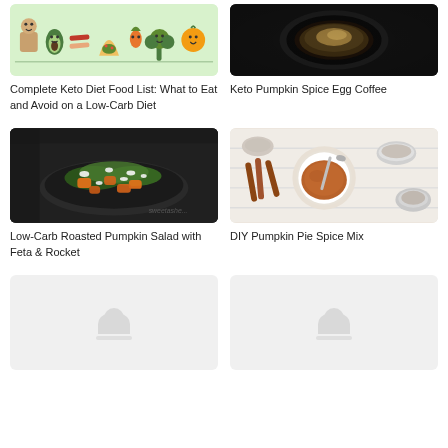[Figure (illustration): Illustrated cartoon food characters (keto foods) on light green/yellow background]
Complete Keto Diet Food List: What to Eat and Avoid on a Low-Carb Diet
[Figure (photo): Dark moody photo of a mug/egg coffee from above on a dark background]
Keto Pumpkin Spice Egg Coffee
[Figure (photo): Overhead photo of a roasted pumpkin and arugula salad with feta in a dark bowl on a dark cloth]
Low-Carb Roasted Pumpkin Salad with Feta & Rocket
[Figure (photo): Overhead photo of cinnamon sticks, a bowl of pumpkin pie spice powder, and small silver bowls on a white surface]
DIY Pumpkin Pie Spice Mix
[Figure (photo): Loading placeholder image with cloud icon]
[Figure (photo): Loading placeholder image with cloud icon]